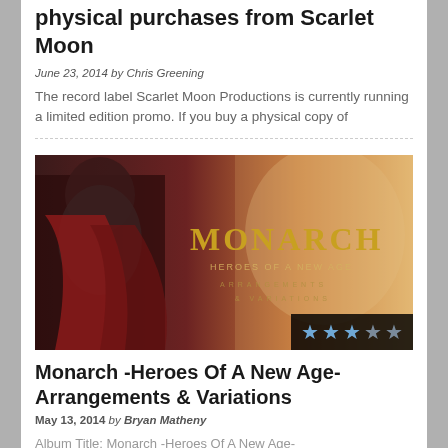physical purchases from Scarlet Moon
June 23, 2014 by Chris Greening
The record label Scarlet Moon Productions is currently running a limited edition promo. If you buy a physical copy of
[Figure (photo): Promotional artwork for Monarch -Heroes Of A New Age- Arrangements & Variations album, showing an armored warrior character with the MONARCH logo and subtitle text. A star rating badge (3 out of 5 stars) appears in the lower right corner.]
Monarch -Heroes Of A New Age- Arrangements & Variations
May 13, 2014 by Bryan Matheny
Album Title: Monarch -Heroes Of A New Age- Arrangements & Variations Record Label: Scarlet